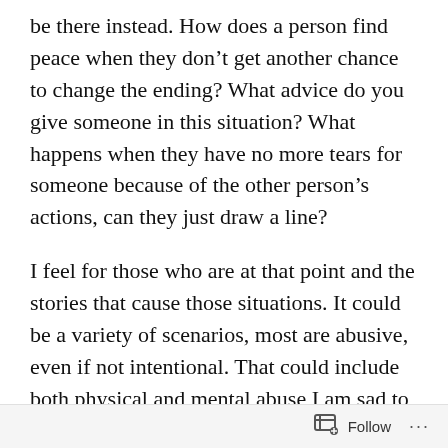be there instead. How does a person find peace when they don't get another chance to change the ending? What advice do you give someone in this situation? What happens when they have no more tears for someone because of the other person's actions, can they just draw a line?
I feel for those who are at that point and the stories that cause those situations. It could be a variety of scenarios, most are abusive, even if not intentional. That could include both physical and mental abuse I am sad to say. This story is about a person who was raised with a loving mother who died young and a father
Follow ···